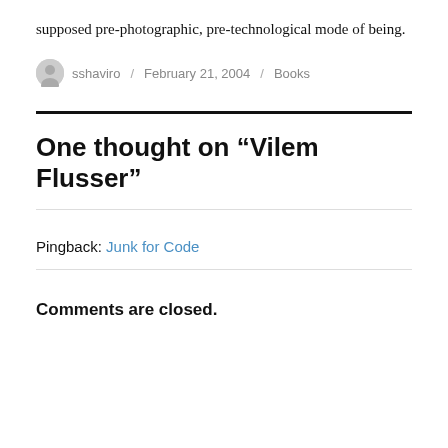supposed pre-photographic, pre-technological mode of being.
sshaviro / February 21, 2004 / Books
One thought on “Vilem Flusser”
Pingback: Junk for Code
Comments are closed.